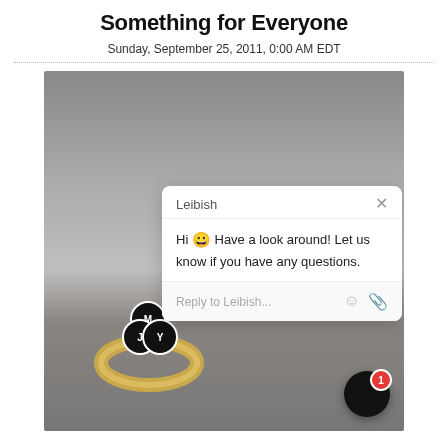Something for Everyone
Sunday, September 25, 2011, 0:00 AM EDT
[Figure (screenshot): A screenshot showing a product photo of a gold ring on a gray textured background, with a Leibish chat popup overlay showing 'Hi 😀 Have a look around! Let us know if you have any questions.' and a reply input box, plus a chat launcher button with badge showing 1.]